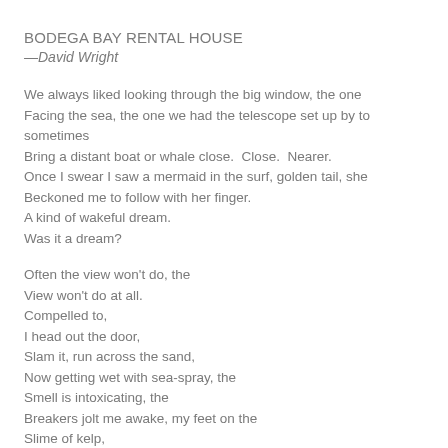BODEGA BAY RENTAL HOUSE
—David Wright
We always liked looking through the big window, the one
Facing the sea, the one we had the telescope set up by to sometimes
Bring a distant boat or whale close.  Close.  Nearer.
Once I swear I saw a mermaid in the surf, golden tail, she
Beckoned me to follow with her finger.
A kind of wakeful dream.
Was it a dream?
Often the view won't do, the
View won't do at all.
Compelled to,
I head out the door,
Slam it, run across the sand,
Now getting wet with sea-spray, the
Smell is intoxicating, the
Breakers jolt me awake, my feet on the
Slime of kelp,